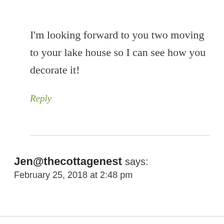I'm looking forward to you two moving to your lake house so I can see how you decorate it!
Reply
Jen@thecottagenest says:
February 25, 2018 at 2:48 pm